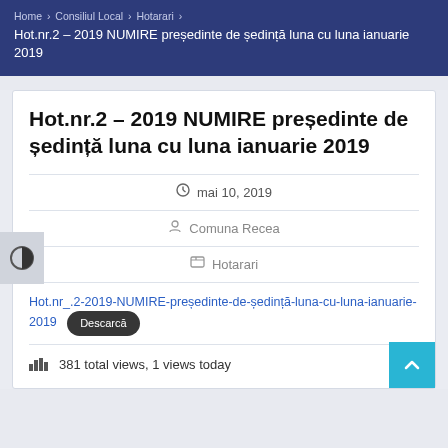Home > Consiliul Local > Hotarari > Hot.nr.2 – 2019 NUMIRE președinte de ședință luna cu luna ianuarie 2019
Hot.nr.2 – 2019 NUMIRE președinte de ședință luna cu luna ianuarie 2019
mai 10, 2019
Comuna Recea
Hotarari
Hot.nr_.2-2019-NUMIRE-președinte-de-ședință-luna-cu-luna-ianuarie-2019  Descarcă
381 total views,  1 views today